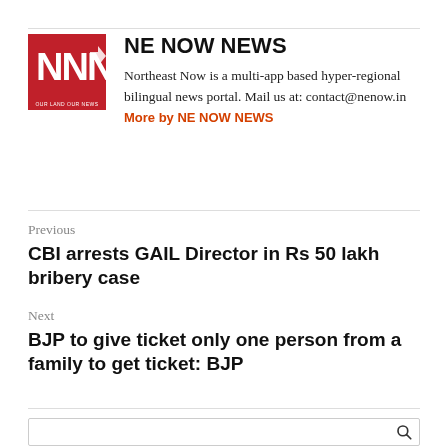[Figure (logo): NE NOW NEWS logo: red square with white 'NNN' letters and arrows, tagline 'OUR LAND OUR NEWS']
NE NOW NEWS
Northeast Now is a multi-app based hyper-regional bilingual news portal. Mail us at: contact@nenow.in More by NE NOW NEWS
Previous
CBI arrests GAIL Director in Rs 50 lakh bribery case
Next
BJP to give ticket only one person from a family to get ticket: BJP